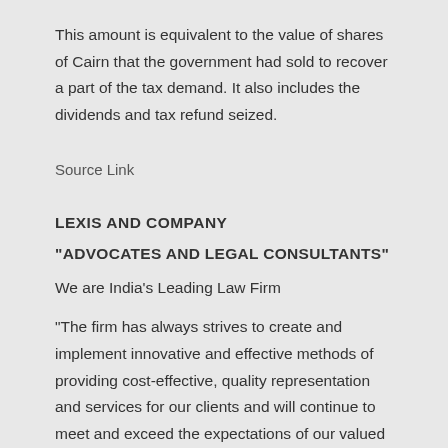This amount is equivalent to the value of shares of Cairn that the government had sold to recover a part of the tax demand. It also includes the dividends and tax refund seized.
Source Link
LEXIS AND COMPANY
"ADVOCATES AND LEGAL CONSULTANTS"
We are India's Leading Law Firm
“The firm has always strives to create and implement innovative and effective methods of providing cost-effective, quality representation and services for our clients and will continue to meet and exceed the expectations of our valued clients.”